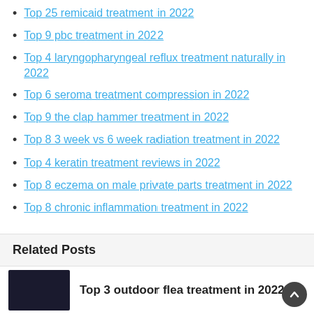Top 25 remicaid treatment in 2022
Top 9 pbc treatment in 2022
Top 4 laryngopharyngeal reflux treatment naturally in 2022
Top 6 seroma treatment compression in 2022
Top 9 the clap hammer treatment in 2022
Top 8 3 week vs 6 week radiation treatment in 2022
Top 4 keratin treatment reviews in 2022
Top 8 eczema on male private parts treatment in 2022
Top 8 chronic inflammation treatment in 2022
Related Posts
Top 3 outdoor flea treatment in 2022